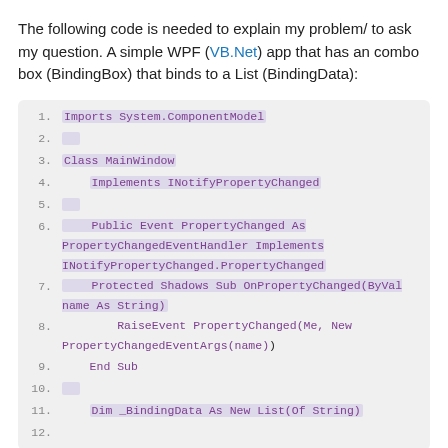The following code is needed to explain my problem/ to ask my question. A simple WPF (VB.Net) app that has an combo box (BindingBox) that binds to a List (BindingData):
[Figure (screenshot): Code block showing VB.Net code with line numbers 1-12. Lines include: Imports System.ComponentModel, Class MainWindow, Implements INotifyPropertyChanged, Public Event PropertyChanged As PropertyChangedEventHandler Implements INotifyPropertyChanged.PropertyChanged, Protected Shadows Sub OnPropertyChanged(ByVal name As String), RaiseEvent PropertyChanged(Me, New PropertyChangedEventArgs(name)), End Sub, Dim _BindingData As New List(Of String)]